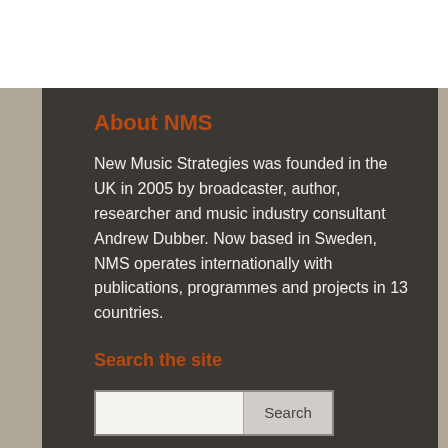About NMS
New Music Strategies was founded in the UK in 2005 by broadcaster, author, researcher and music industry consultant Andrew Dubber. Now based in Sweden, NMS operates internationally with publications, programmes and projects in 13 countries.
Search the site